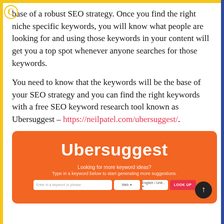base of a robust SEO strategy. Once you find the right niche specific keywords, you will know what people are looking for and using those keywords in your content will get you a top spot whenever anyone searches for those keywords.
You need to know that the keywords will be the base of your SEO strategy and you can find the right keywords with a free SEO keyword research tool known as Ubersuggest – https://neilpatel.com/ubersuggest/.
[Figure (screenshot): Screenshot of the Ubersuggest website interface with orange background, showing the title 'Ubersuggest', subtitle 'Looking for more keyword ideas? Type in a keyword below to start generating more suggestions.', and a search bar with Web and English/Unit dropdowns and a LOOK UP button.]